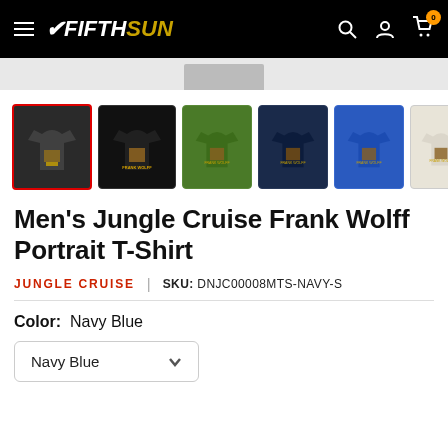Fifth Sun - navigation header with hamburger menu, logo, search, account, and cart icons
[Figure (screenshot): Thumbnail strip showing 6 color variants of t-shirt: dark grey (selected, red border), black, green, navy, blue, cream]
Men's Jungle Cruise Frank Wolff Portrait T-Shirt
JUNGLE CRUISE | SKU: DNJC00008MTS-NAVY-S
Color: Navy Blue
Navy Blue (dropdown)